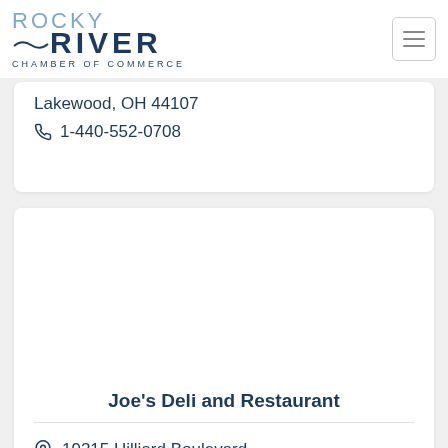[Figure (logo): Rocky River Chamber of Commerce logo with wave graphic]
Lakewood, OH 44107
1-440-552-0708
Joe's Deli and Restaurant
19215 Hilliard Boulevard, Rocky River, OH 44116-2908